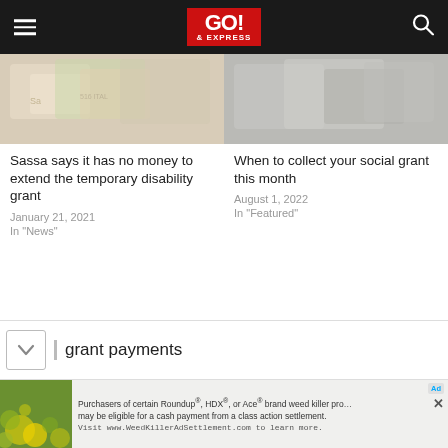GO! & EXPRESS
[Figure (photo): Blurred photo of cards and paper items, left article thumbnail]
Sassa says it has no money to extend the temporary disability grant
January 21, 2021
In "News"
[Figure (photo): Blurred photo of social grant related items, right article thumbnail]
When to collect your social grant this month
August 1, 2022
In "Featured"
grant payments
[Figure (photo): Advertisement banner: flowers in background with text about Roundup, HDX, Ace brand weed killer settlement]
Purchasers of certain Roundup®, HDX®, or Ace® brand weed killer products may be eligible for a cash payment from a class action settlement. Visit www.WeedKillerAdSettlement.com to learn more.